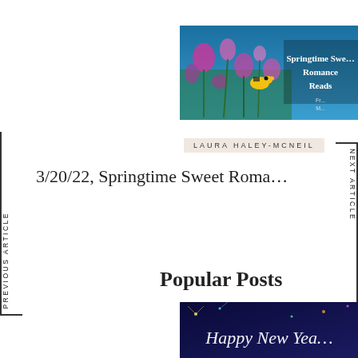[Figure (photo): Springtime flowers with a bird, overlaid text reading 'Springtime Sweet Romance Reads']
LAURA HALEY-MCNEIL
3/20/22, Springtime Sweet Roma...
PREVIOUS ARTICLE
NEXT ARTICLE
Popular Posts
[Figure (photo): Happy New Year banner image with fireworks and script text]